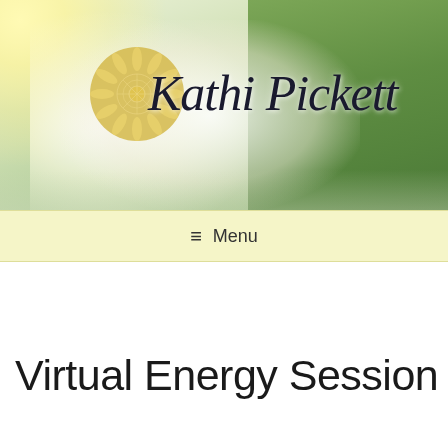[Figure (photo): Header banner showing a woman with outstretched arms in a white outfit against a bright outdoor background with green trees, featuring the Kathi Pickett brand logo (golden sunflower circle) and cursive script name 'Kathi Pickett' overlaid in dark text]
≡  Menu
Virtual Energy Session